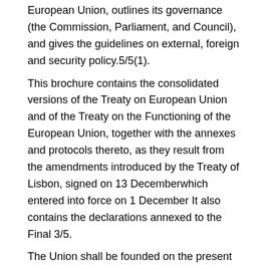European Union, outlines its governance (the Commission, Parliament, and Council), and gives the guidelines on external, foreign and security policy.5/5(1).
This brochure contains the consolidated versions of the Treaty on European Union and of the Treaty on the Functioning of the European Union, together with the annexes and protocols thereto, as they result from the amendments introduced by the Treaty of Lisbon, signed on 13 Decemberwhich entered into force on 1 December It also contains the declarations annexed to the Final 3/5.
The Union shall be founded on the present Treaty and on the Treaty on the Functioning of the European Union (hereinafter referred to as ‘the Treaties’).
European Union treaties book Those two Treaties shall have the same legal value. The Union shall replace and succeed the European Community. C /16 Official Journal of the European Union EN.
Today’s European Union (EU) is based on treaties negotiated and ratified by the member states. They form a kind of “constitution” for the